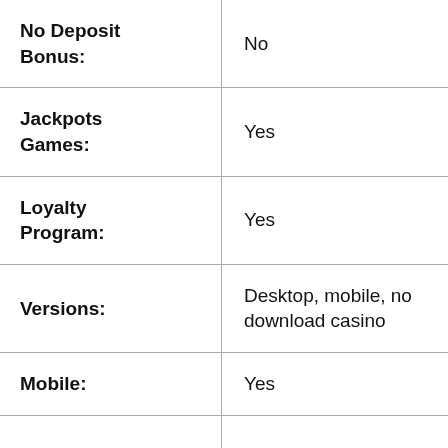| Feature | Value |
| --- | --- |
| No Deposit Bonus: | No |
| Jackpots Games: | Yes |
| Loyalty Program: | Yes |
| Versions: | Desktop, mobile, no download casino |
| Mobile: | Yes |
|  |  |